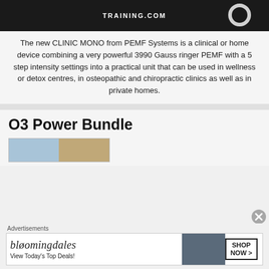[Figure (photo): Dark background image showing TRAINING.COM text and a white ring/circle element]
The new CLINIC MONO from PEMF Systems is a clinical or home device combining a very powerful 3990 Gauss ringer PEMF with a 5 step intensity settings into a practical unit that can be used in wellness or detox centres, in osteopathic and chiropractic clinics as well as in private homes.
O3 Power Bundle
[Figure (photo): Product image showing O3 Power Bundle items]
Advertisements
[Figure (photo): Bloomingdales advertisement banner: View Today's Top Deals! SHOP NOW >]